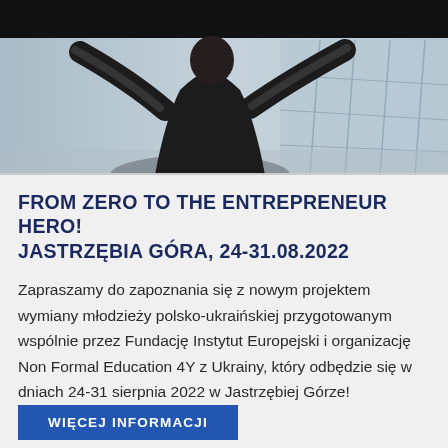[Figure (photo): Person in dark suit seen from behind, arms raised in a victory pose, against a modern glass building background. Black bar at the top.]
FROM ZERO TO THE ENTREPRENEUR HERO! JASTRZĘBIA GÓRA, 24-31.08.2022
Zapraszamy do zapoznania się z nowym projektem wymiany młodzieży polsko-ukraińskiej przygotowanym wspólnie przez Fundację Instytut Europejski i organizację Non Formal Education 4Y z Ukrainy, który odbędzie się w dniach 24-31 sierpnia 2022 w Jastrzębiej Górze!
WIĘCEJ INFORMACJI